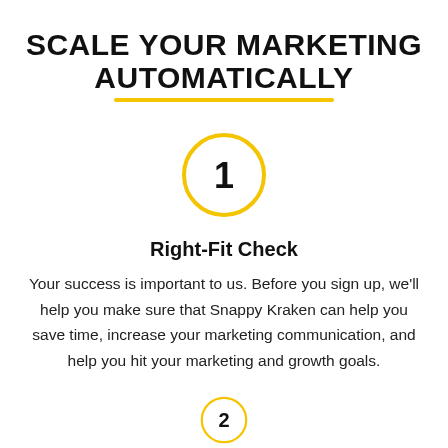SCALE YOUR MARKETING AUTOMATICALLY
[Figure (infographic): Golden circle with number 1 inside, indicating step 1]
Right-Fit Check
Your success is important to us. Before you sign up, we'll help you make sure that Snappy Kraken can help you save time, increase your marketing communication, and help you hit your marketing and growth goals.
[Figure (infographic): Partial golden circle with number 2, indicating step 2 (partially visible at bottom)]